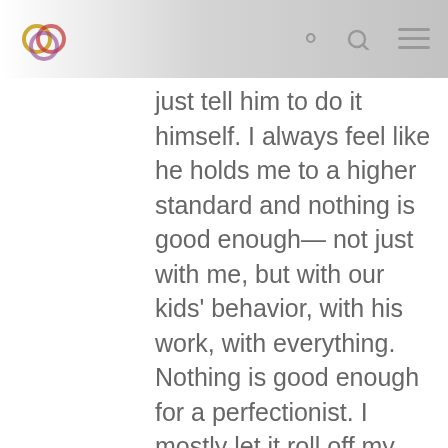[Logo] [Search icon] [Menu icon]
just tell him to do it himself. I always feel like he holds me to a higher standard and nothing is good enough— not just with me, but with our kids' behavior, with his work, with everything. Nothing is good enough for a perfectionist. I mostly let it roll off my back because I'm used to it and he is hardest on himself and I know that, but sometimes it bothers me. Like about the yard.

Any household paperwork is my job— we hired an accountant for taxes but my husband is still asking me for paperwork that HE has for the taxes, so taxes haven't